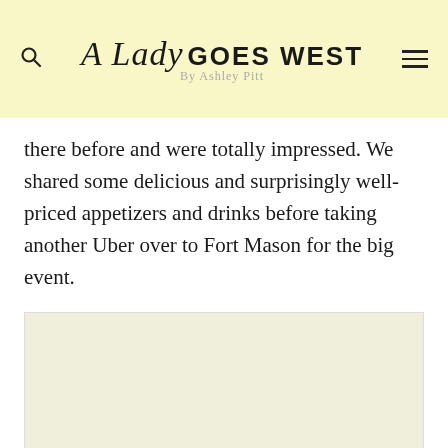A Lady Goes West by Ashley Pitt
there before and were totally impressed. We shared some delicious and surprisingly well-priced appetizers and drinks before taking another Uber over to Fort Mason for the big event.
[Figure (photo): Placeholder image area, light beige/cream background]